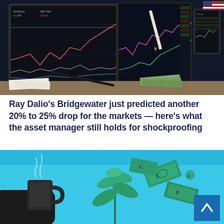[Figure (photo): Photo of multiple trading screens showing stock market charts, price tables with green and red figures, and a tablet, with cash bills and papers on a desk in the foreground.]
Ray Dalio’s Bridgewater just predicted another 20% to 25% drop for the markets — here’s what the asset manager still holds for shockproofing
[Figure (illustration): Illustration on a light blue background showing a hand holding a coffee cup, green dollar bills flying near a plant with leaves, suggesting financial growth or savings concept. A dark blue square with an upward chevron arrow (scroll-to-top button) is visible in the bottom right.]